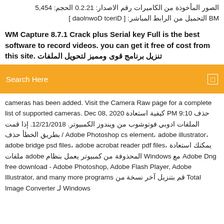الصور المأخوذة من الكاميرات رقم الاصدار: 12.2.0 الحجم: 454,5 MB التحميل من الرابط المباشر: [ Direct Download ]
WM Capture 8.7.1 Crack plus Serial key Full is the best software to record videos. you can get it free of cost from this site. تنزيل برنامج قوى ومميز لتحويل الملفات
[Figure (screenshot): Orange search bar with text 'Search Here' and a small square icon on the right]
cameras has been added. Visit the Camera Raw page for a complete list of supported cameras. Dec 08, 2020 كيفية استعادة PM 9:10 حذف الملفات ادوبي فوتوشوب من ويندوز الكمبيوتر. 12/21/2018. إذا قمت بطريق الخطأ حذف / Adobe Photoshop cs element، adobe illustrator، adobe bridge psd files، adobe acrobat reader pdf files، يمكنك استعادة ملفات adobe المحذوفة من كمبيوتر يعمل بنظام Windows مع Adobe Dng free download - Adobe Photoshop, Adobe Flash Player, Adobe Illustrator, and many more programs قم بتنزيل آخر نسخة من Total Image Converter لـ Windows